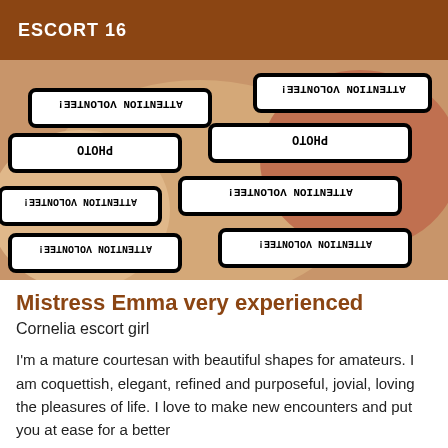ESCORT 16
[Figure (photo): Photo of a person with multiple overlaid watermark badges reading 'PHOTO ATTENTION VOLONTEE!' rotated 180 degrees, obscuring the face and body.]
Mistress Emma very experienced
Cornelia escort girl
I'm a mature courtesan with beautiful shapes for amateurs. I am coquettish, elegant, refined and purposeful, jovial, loving the pleasures of life. I love to make new encounters and put you at ease for a better